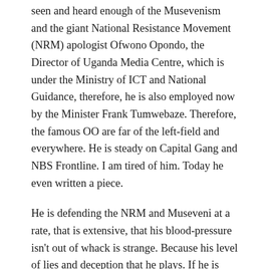seen and heard enough of the Musevenism and the giant National Resistance Movement (NRM) apologist Ofwono Opondo, the Director of Uganda Media Centre, which is under the Ministry of ICT and National Guidance, therefore, he is also employed now by the Minister Frank Tumwebaze. Therefore, the famous OO are far of the left-field and everywhere. He is steady on Capital Gang and NBS Frontline. I am tired of him. Today he even written a piece.
He is defending the NRM and Museveni at a rate, that is extensive, that his blood-pressure isn't out of whack is strange. Because his level of lies and deception that he plays. If he is proud of his work, I would feel sorry, but everyone wants to eat. I am sure the hypocrisy and the tarnish of reality must hurt his brain-cells. Since it is long